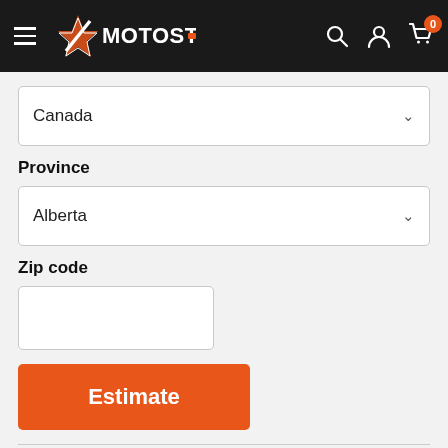MOTOSTARZ
Canada
Province
Alberta
Zip code
Estimate
Refund Policy